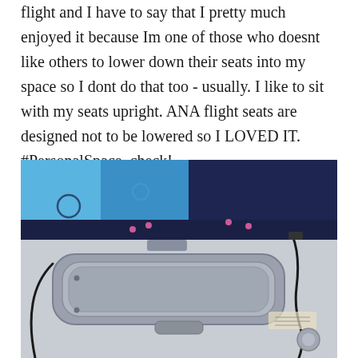flight and I have to say that I pretty much enjoyed it because Im one of those who doesnt like others to lower down their seats into my space so I dont do that too - usually. I like to sit with my seats upright. ANA flight seats are designed not to be lowered so I LOVED IT. #PersonalSpace, check!
[Figure (photo): Close-up photo of an airplane seat back showing the tray table compartment, a screen with pink dots/lights visible at the top, a USB/charging port, and a cable plugged in. The back of the seat is white/light grey plastic with a dark navy blue screen panel at the top.]